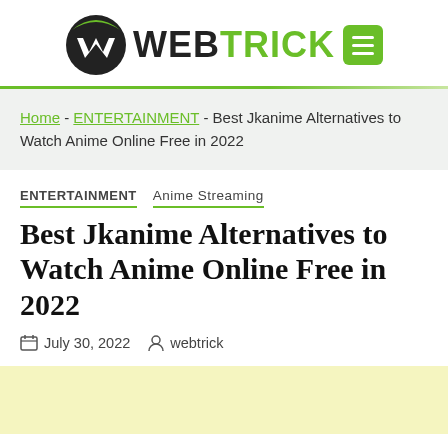[Figure (logo): WebTrick logo with circular W icon and green menu button]
Home – ENTERTAINMENT – Best Jkanime Alternatives to Watch Anime Online Free in 2022
ENTERTAINMENT   Anime Streaming
Best Jkanime Alternatives to Watch Anime Online Free in 2022
July 30, 2022   webtrick